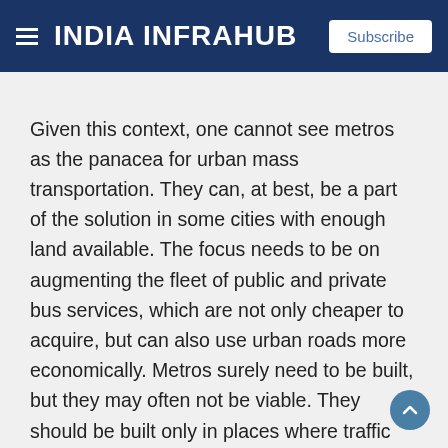INDIA INFRAHUB
Given this context, one cannot see metros as the panacea for urban mass transportation. They can, at best, be a part of the solution in some cities with enough land available. The focus needs to be on augmenting the fleet of public and private bus services, which are not only cheaper to acquire, but can also use urban roads more economically. Metros surely need to be built, but they may often not be viable. They should be built only in places where traffic may be extraordinarily dense and the cost of land is reasonable – not an easy combination to find. Put simply, metros may work better in connecting city centres with satellite towns than inside existing urban megalopolises. Buses must take up the job where